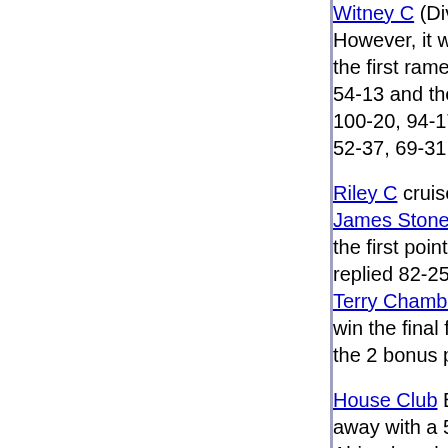Witney C (Div 2) had little difficulty in their match with Morris Motors A (Div 3). However, it was the Motormen who took an early lead, when Doug Baker took the first rame 68-63 from Colin Cutler. Cutler hit back to take the second frame 54-13 and the first aggregate point. Lewis Calcutt made a break of 41 during his 100-20, 94-17 demolition of Des Truss, with Paul Chester completing a 5:0 win 52-37, 69-31 against Tony Baker.
Riley C cruised through to round 2 with a comfortable win against Ashton A. James Stone set Riley on their way, beating Alan King 72-72, 63-22 to secure the first point. Pete Fenn took the third frame from Chris Stone 73-47, but Stone replied 82-25 and take the second point on aggregate. Andy MacBryan beat Terry Chambers 75-52 in the fifth frame and although Chambers came back to win the final frame 52-44, his margin of victory was insufficient to deny Riley's the 2 bonus points for overall aggregate and a 5-0 win.
House Club B travelled to fellow Division Two side Abingdon RBL A and came away with a 5-0 win. The first four frames were see-saw affairs with the Abingdon players going in front